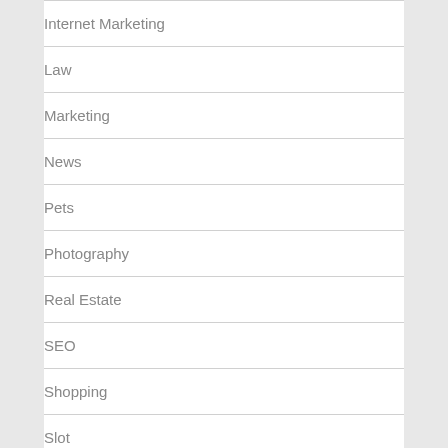Internet Marketing
Law
Marketing
News
Pets
Photography
Real Estate
SEO
Shopping
Slot